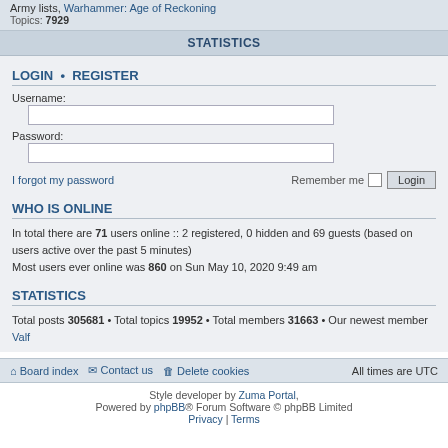Army lists, Warhammer: Age of Reckoning Topics: 7929
STATISTICS
LOGIN • REGISTER
Username:
Password:
I forgot my password   Remember me   Login
WHO IS ONLINE
In total there are 71 users online :: 2 registered, 0 hidden and 69 guests (based on users active over the past 5 minutes)
Most users ever online was 860 on Sun May 10, 2020 9:49 am
STATISTICS
Total posts 305681 • Total topics 19952 • Total members 31663 • Our newest member Valf
Board index   Contact us   Delete cookies   All times are UTC
Style developer by Zuma Portal, Powered by phpBB® Forum Software © phpBB Limited Privacy | Terms